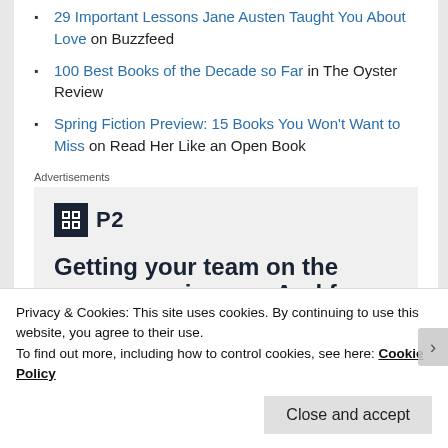29 Important Lessons Jane Austen Taught You About Love on Buzzfeed
100 Best Books of the Decade so Far in The Oyster Review
Spring Fiction Preview: 15 Books You Won't Want to Miss on Read Her Like an Open Book
Advertisements
[Figure (screenshot): Advertisement banner for P2 project management tool showing logo and headline 'Getting your team on the same page is easy. And free.']
Privacy & Cookies: This site uses cookies. By continuing to use this website, you agree to their use. To find out more, including how to control cookies, see here: Cookie Policy
Close and accept